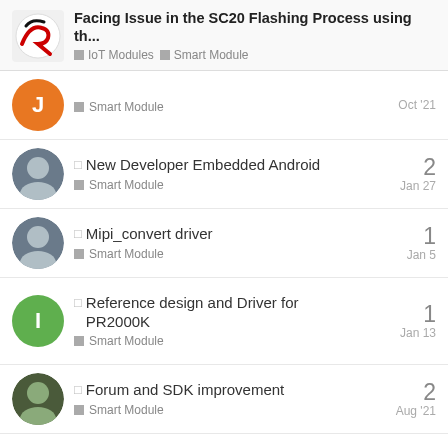Facing Issue in the SC20 Flashing Process using th... | IoT Modules | Smart Module
Smart Module — Oct '21
New Developer Embedded Android — Smart Module — Jan 27 — replies: 2
Mipi_convert driver — Smart Module — Jan 5 — replies: 1
Reference design and Driver for PR2000K — Smart Module — Jan 13 — replies: 1
Forum and SDK improvement — Smart Module — Aug '21 — replies: 2
Want to read more? Browse other topics in Smart Module or view latest topics.